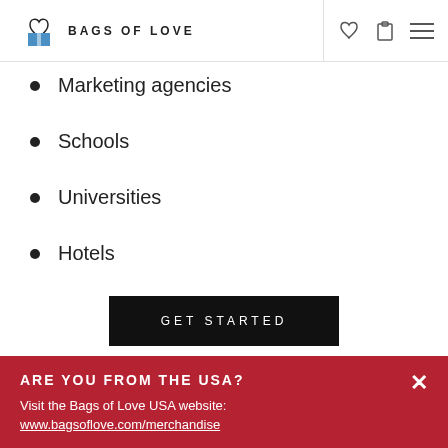BAGS OF LOVE
Marketing agencies
Schools
Universities
Hotels
GET STARTED
ARE YOU FROM THE USA?
Visit the Bags of Love USA website:
www.bagsoflove.com/merchandise